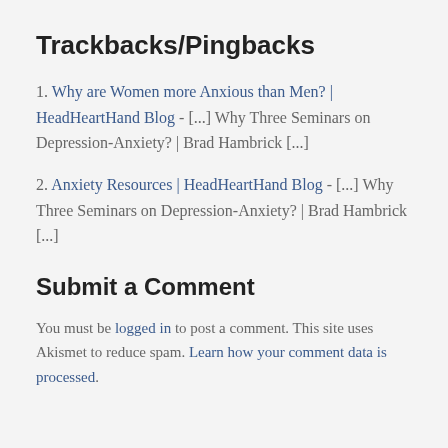Trackbacks/Pingbacks
1. Why are Women more Anxious than Men? | HeadHeartHand Blog - [...] Why Three Seminars on Depression-Anxiety? | Brad Hambrick [...]
2. Anxiety Resources | HeadHeartHand Blog - [...] Why Three Seminars on Depression-Anxiety? | Brad Hambrick [...]
Submit a Comment
You must be logged in to post a comment. This site uses Akismet to reduce spam. Learn how your comment data is processed.